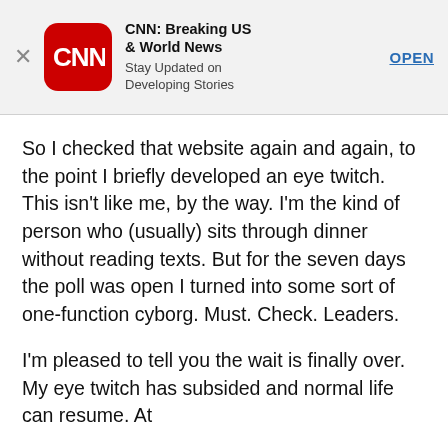[Figure (screenshot): CNN app advertisement banner with CNN red rounded-square logo, title 'CNN: Breaking US & World News', subtitle 'Stay Updated on Developing Stories', and an OPEN button link]
So I checked that website again and again, to the point I briefly developed an eye twitch. This isn't like me, by the way. I'm the kind of person who (usually) sits through dinner without reading texts. But for the seven days the poll was open I turned into some sort of one-function cyborg. Must. Check. Leaders.
I'm pleased to tell you the wait is finally over. My eye twitch has subsided and normal life can resume. At